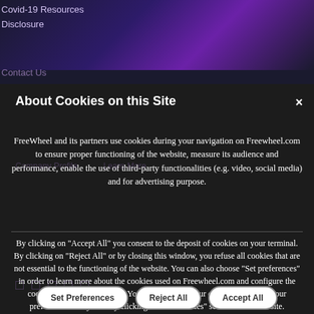Covid-19 Resources
Disclosure
Contact Us
About Cookies on this Site
FreeWheel and its partners use cookies during your navigation on Freewheel.com to ensure proper functioning of the website, measure its audience and performance, enable the use of third-party functionalities (e.g. video, social media) and for advertising purpose.
By clicking on "Accept All" you consent to the deposit of cookies on your terminal. By clicking on "Reject All" or by closing this window, you refuse all cookies that are not essential to the functioning of the website. You can also choose "Set preferences" in order to learn more about the cookies used on Freewheel.com and configure the cookies you want to activate. You can withdraw your consent or change your preferences at any time by clicking on the "Cookies" section of the website.